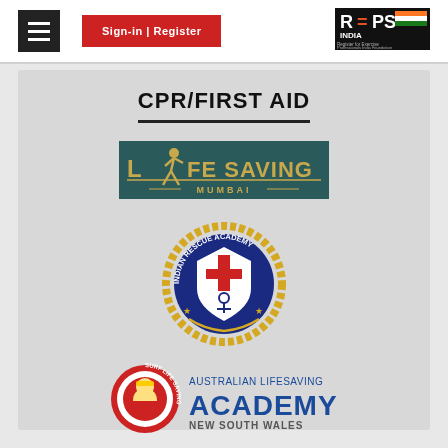Sign-in | Register
CPR/FIRST AID
[Figure (logo): Life Saving Mumbai logo — dark teal rectangular banner with gold text 'LIFE SAVING MUMBAI' and a running figure]
[Figure (logo): Indian Rescue Academy circular badge logo — gold rope border, blue shield with cross and anchor symbols, text 'INDIAN RESCUE ACADEMY' around edge]
[Figure (logo): Australian Lifesaving Academy New South Wales logo — circular surf lifesaving emblem on left, blue bold text 'ACADEMY' with smaller text 'AUSTRALIAN LIFESAVING' above and 'NEW SOUTH WALES' below]